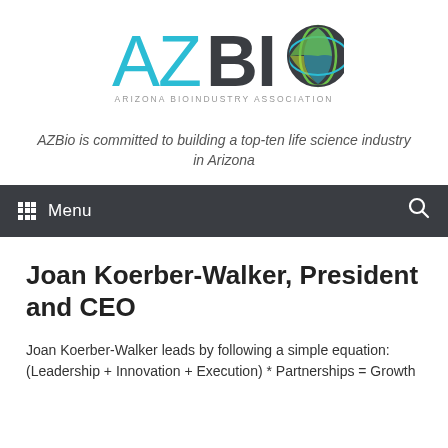[Figure (logo): AZBio - Arizona Bioindustry Association logo with teal/cyan letters AZ, dark BIO text, and a circular globe icon with green/blue colors]
AZBio is committed to building a top-ten life science industry in Arizona
Joan Koerber-Walker, President and CEO
Joan Koerber-Walker leads by following a simple equation: (Leadership + Innovation + Execution) * Partnerships = Growth